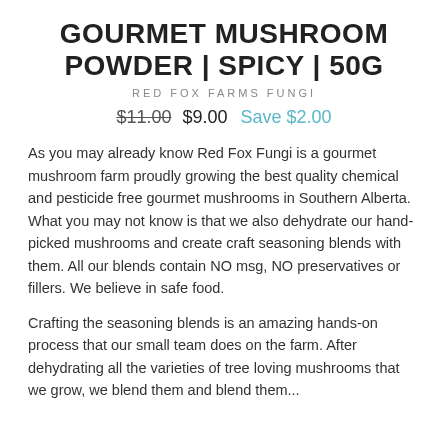GOURMET MUSHROOM POWDER | SPICY | 50G
RED FOX FARMS FUNGI
$11.00  $9.00  Save $2.00
As you may already know Red Fox Fungi is a gourmet mushroom farm proudly growing the best quality chemical and pesticide free gourmet mushrooms in Southern Alberta. What you may not know is that we also dehydrate our hand-picked mushrooms and create craft seasoning blends with them. All our blends contain NO msg, NO preservatives or fillers. We believe in safe food.
Crafting the seasoning blends is an amazing hands-on process that our small team does on the farm. After dehydrating all the varieties of tree loving mushrooms that we grow, we blend them and blend them...